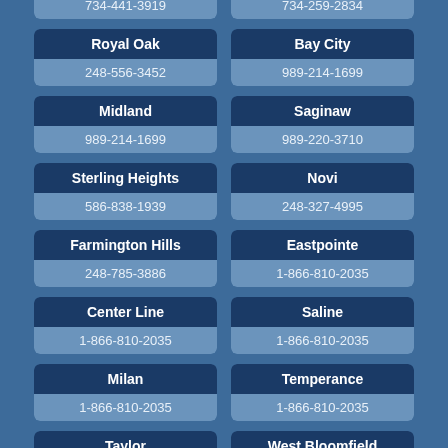734-441-3919 | 734-259-2834
Royal Oak | 248-556-3452
Bay City | 989-214-1699
Midland | 989-214-1699
Saginaw | 989-220-3710
Sterling Heights | 586-838-1939
Novi | 248-327-4995
Farmington Hills | 248-785-3886
Eastpointe | 1-866-810-2035
Center Line | 1-866-810-2035
Saline | 1-866-810-2035
Milan | 1-866-810-2035
Temperance | 1-866-810-2035
Taylor | West Bloomfield